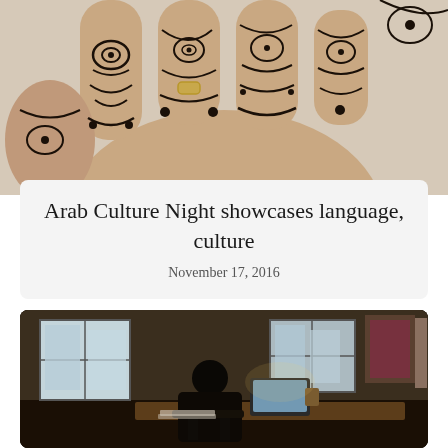[Figure (photo): Close-up photo of a hand with intricate henna/mehndi tattoo designs on the fingers and knuckles, with a gold ring visible on one finger. Black swirling patterns cover the fingers against a light background.]
Arab Culture Night showcases language, culture
November 17, 2016
[Figure (photo): Dark, moody photo of a person sitting at a desk in an office, silhouetted against bright windows, working on a laptop. The room has warm lighting, wall art, and office furniture.]